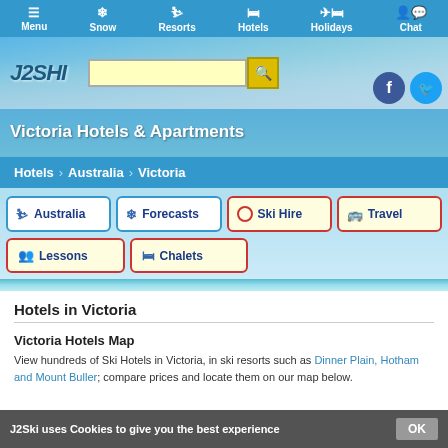Menu | Snow | Resorts | Hotels | Holidays | Chat
[Figure (screenshot): J2Ski website header with logo, search bar, and mountain background]
Victoria Hotels & Apartments
Hotels > Australia > Victoria
Australia
Forecasts
Ski Hire
Travel
Lessons
Chalets
Hotels in Victoria
Victoria Hotels Map
View hundreds of Ski Hotels in Victoria, in ski resorts such as Dinner Plain, Hotham and Mount Buller; compare prices and locate them on our map below.
J2Ski uses Cookies to give you the best experience  OK